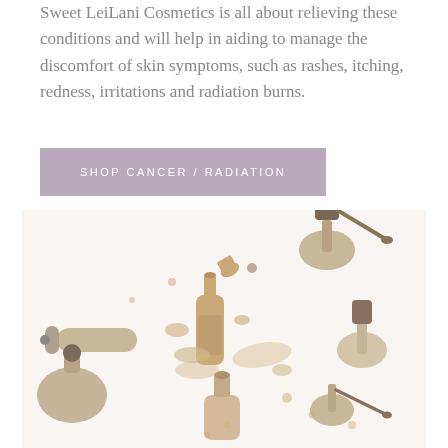Sweet LeiLani Cosmetics is all about relieving these conditions and will help in aiding to manage the discomfort of skin symptoms, such as rashes, itching, redness, irritations and radiation burns.
SHOP CANCER / RADIATION
[Figure (photo): Scattered cosmetics bottles and nail polish bottles in neutral beige and brown tones on a white background, with liquid foundation drops spilled around them.]